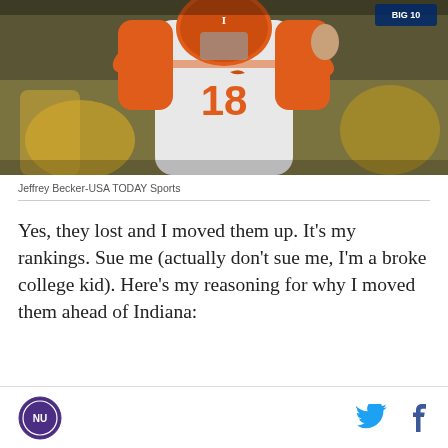[Figure (photo): Football player wearing white and orange jersey number 18 with Illinois Fighting Illini uniform, arm raised, in action during a game]
Jeffrey Becker-USA TODAY Sports
Yes, they lost and I moved them up. It's my rankings. Sue me (actually don't sue me, I'm a broke college kid). Here's my reasoning for why I moved them ahead of Indiana:
NU logo, Twitter icon, Facebook icon